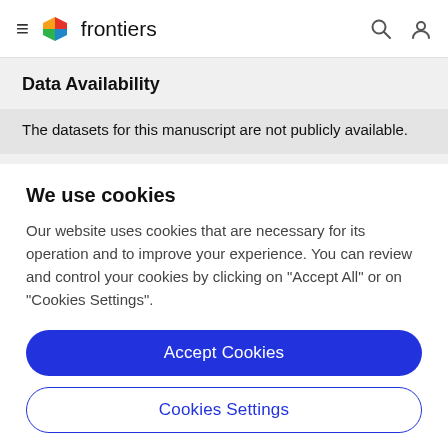frontiers
Data Availability
The datasets for this manuscript are not publicly available.
We use cookies
Our website uses cookies that are necessary for its operation and to improve your experience. You can review and control your cookies by clicking on "Accept All" or on "Cookies Settings".
Accept Cookies
Cookies Settings